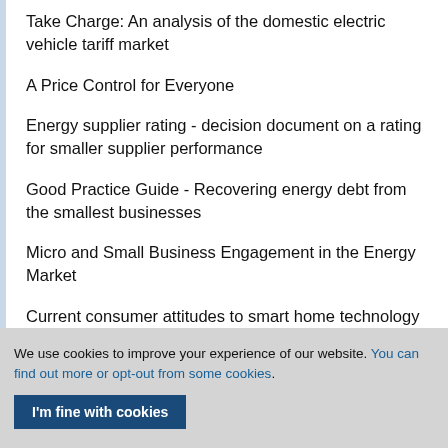Take Charge: An analysis of the domestic electric vehicle tariff market
A Price Control for Everyone
Energy supplier rating - decision document on a rating for smaller supplier performance
Good Practice Guide - Recovering energy debt from the smallest businesses
Micro and Small Business Engagement in the Energy Market
Current consumer attitudes to smart home technology
We use cookies to improve your experience of our website. You can find out more or opt-out from some cookies.
I'm fine with cookies